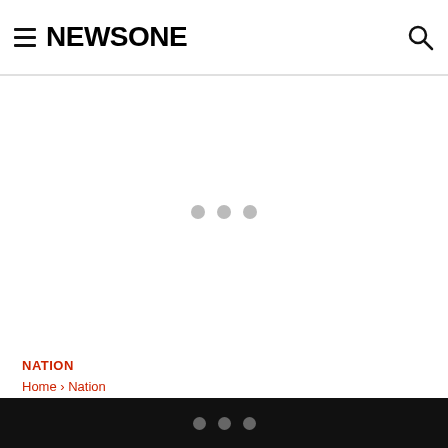NEWSONE
[Figure (other): Advertisement placeholder area with three gray dots indicating loading content]
NATION
Home › Nation
Government Warns Of Scam